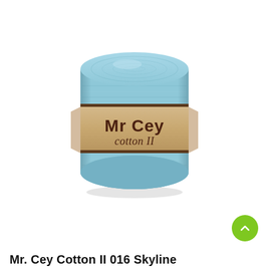[Figure (photo): A ball/skein of light blue cotton yarn (Mr Cey Cotton II) with a kraft paper label reading 'Mr Cey cotton II' in brown lettering, centered on a white background.]
Mr. Cey Cotton II 016 Skyline